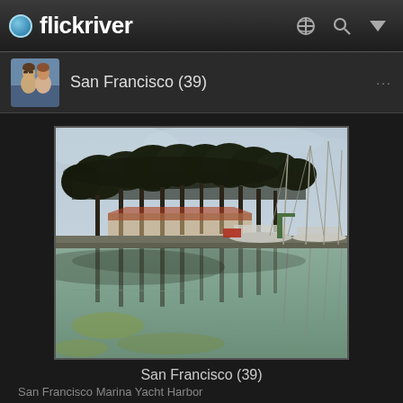flickriver
San Francisco (39)
[Figure (photo): San Francisco Marina Yacht Harbor — trees reflected in calm water, sailboat masts visible, overcast sky]
San Francisco (39)
San Francisco Marina Yacht Harbor